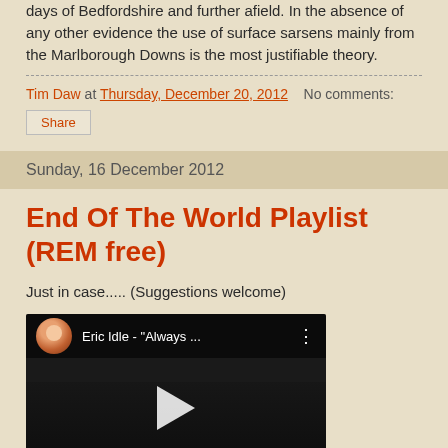days of Bedfordshire and further afield. In the absence of any other evidence the use of surface sarsens mainly from the Marlborough Downs is the most justifiable theory.
Tim Daw at Thursday, December 20, 2012   No comments:
Share
Sunday, 16 December 2012
End Of The World Playlist (REM free)
Just in case..... (Suggestions welcome)
[Figure (screenshot): YouTube video thumbnail showing Eric Idle - 'Always ...' with a baby avatar icon, video title text, and a play button overlay on a dark background]